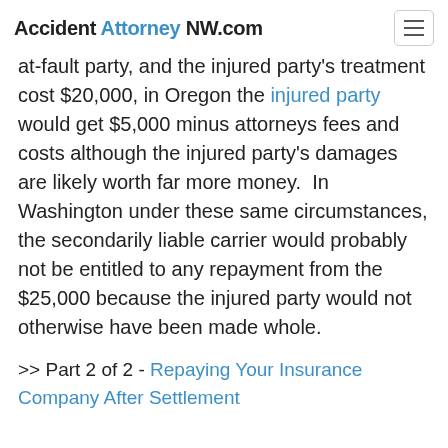Accident Attorney NW.com
at-fault party, and the injured party's treatment cost $20,000, in Oregon the injured party would get $5,000 minus attorneys fees and costs although the injured party's damages are likely worth far more money.  In Washington under these same circumstances, the secondarily liable carrier would probably not be entitled to any repayment from the $25,000 because the injured party would not otherwise have been made whole.
>> Part 2 of 2 - Repaying Your Insurance Company After Settlement